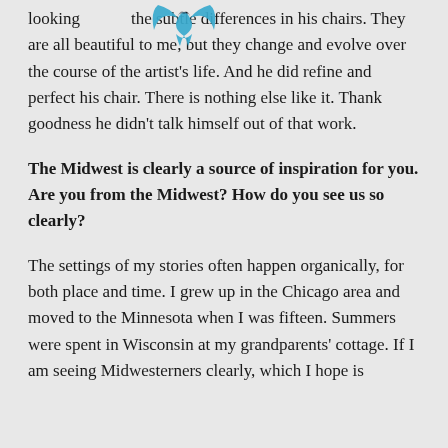looking closely at the subtle differences in his chairs. They are all beautiful to me, but they change and evolve over the course of the artist's life. And he did refine and perfect his chair. There is nothing else like it. Thank goodness he didn't talk himself out of that work.
The Midwest is clearly a source of inspiration for you. Are you from the Midwest? How do you see us so clearly?
The settings of my stories often happen organically, for both place and time. I grew up in the Chicago area and moved to the Minnesota when I was fifteen. Summers were spent in Wisconsin at my grandparents' cottage. If I am seeing Midwesterners clearly, which I hope is